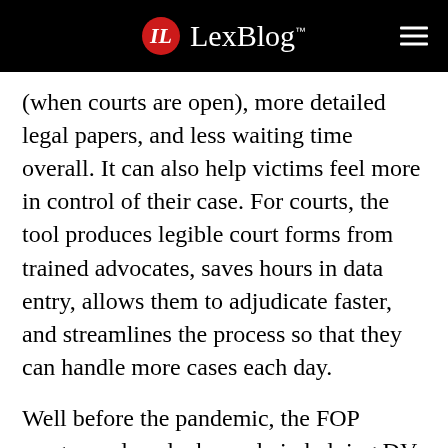LexBlog
(when courts are open), more detailed legal papers, and less waiting time overall. It can also help victims feel more in control of their case. For courts, the tool produces legible court forms from trained advocates, saves hours in data entry, allows them to adjudicate faster, and streamlines the process so that they can handle more cases each day.
Well before the pandemic, the FOP program played a key role in helping DV survivors complete and file forms to ensure their safety and protection, and access remote Skype